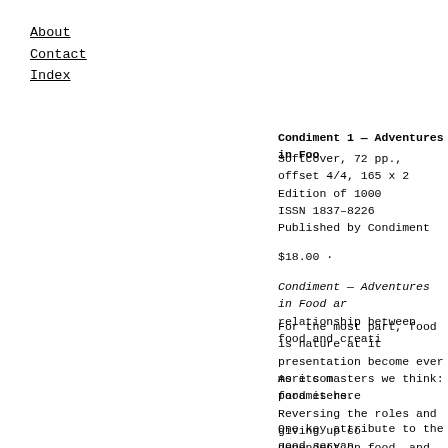About
Contact
Index
Condiment 1 — Adventures in Foo
Softcover, 72 pp., offset 4/4, 165 x 2...
Edition of 1000
ISSN 1837–8226
Published by Condiment
$18.00 ·
Condiment — Adventures in Food ar... relationship between food and creati...
For the most part, food is nature at it... presentation become ever more com... parameters.
As its masters we think: food is here... Reversing the roles and giving up co... dependent on food, and not food tha...
One key attribute to the good servan... amateur. The true amateur, of which...